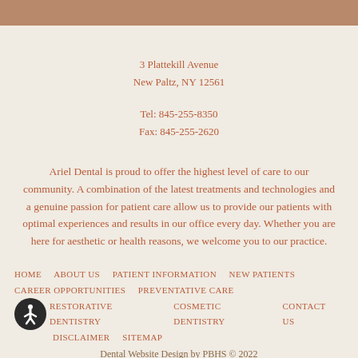3 Plattekill Avenue
New Paltz, NY 12561
Tel: 845-255-8350
Fax: 845-255-2620
Ariel Dental is proud to offer the highest level of care to our community. A combination of the latest treatments and technologies and a genuine passion for patient care allow us to provide our patients with optimal experiences and results in our office every day. Whether you are here for aesthetic or health reasons, we welcome you to our practice.
HOME   ABOUT US   PATIENT INFORMATION   NEW PATIENTS   CAREER OPPORTUNITIES   PREVENTATIVE CARE   RESTORATIVE DENTISTRY   COSMETIC DENTISTRY   CONTACT US   DISCLAIMER   SITEMAP
Dental Website Design by PBHS © 2022